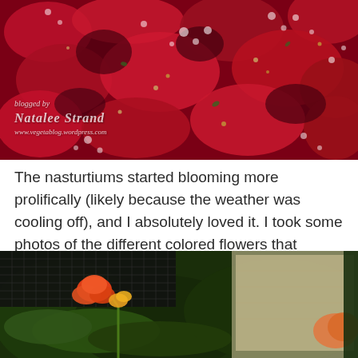[Figure (photo): Close-up macro photo of chopped strawberries or red fruit with bubbles and seeds, with a watermark overlay reading 'blogged by Natalee Strand www.vegetablog.wordpress.com']
The nasturtiums started blooming more prolifically (likely because the weather was cooling off), and I absolutely loved it. I took some photos of the different colored flowers that opened because were all so beautiful.
[Figure (photo): Photo of nasturtium flowers in orange and yellow colors growing in a garden with dark green foliage and a wooden planter box visible in the background]